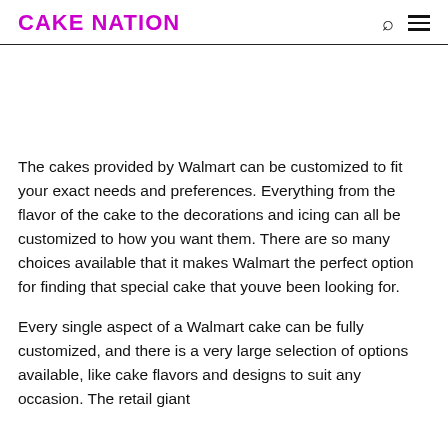CAKE NATION
[Figure (other): Blank image placeholder area]
The cakes provided by Walmart can be customized to fit your exact needs and preferences. Everything from the flavor of the cake to the decorations and icing can all be customized to how you want them. There are so many choices available that it makes Walmart the perfect option for finding that special cake that youve been looking for.
Every single aspect of a Walmart cake can be fully customized, and there is a very large selection of options available, like cake flavors and designs to suit any occasion. The retail giant